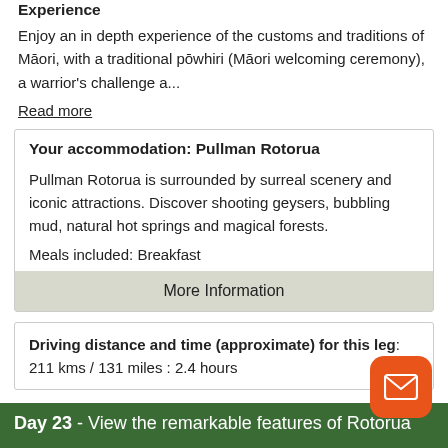Experience
Enjoy an in depth experience of the customs and traditions of Māori, with a traditional pōwhiri (Māori welcoming ceremony), a warrior's challenge a...
Read more
Your accommodation: Pullman Rotorua
Pullman Rotorua is surrounded by surreal scenery and iconic attractions. Discover shooting geysers, bubbling mud, natural hot springs and magical forests.
Meals included: Breakfast
More Information
Driving distance and time (approximate) for this leg: 211 kms / 131 miles : 2.4 hours
Day 23 - View the remarkable features of Rotorua